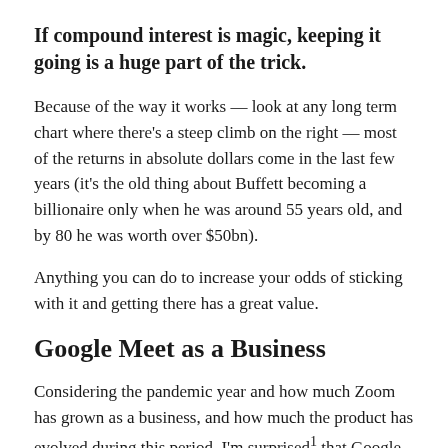If compound interest is magic, keeping it going is a huge part of the trick.
Because of the way it works — look at any long term chart where there's a steep climb on the right — most of the returns in absolute dollars come in the last few years (it's the old thing about Buffett becoming a billionaire only when he was around 55 years old, and by 80 he was worth over $50bn).
Anything you can do to increase your odds of sticking with it and getting there has a great value.
Google Meet as a Business
Considering the pandemic year and how much Zoom has grown as a business, and how much the product has evolved during this period, I'm surprised¹ that Google